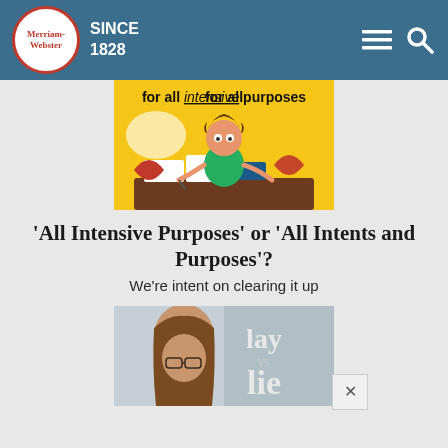Merriam-Webster SINCE 1828
[Figure (illustration): Cartoon of a stressed student studying with books, captioned 'for all intensive purposes']
'All Intensive Purposes' or 'All Intents and Purposes'?
We're intent on clearing it up
[Figure (photo): Photo of a woman with bangs and glasses next to text 'lay vs lie']